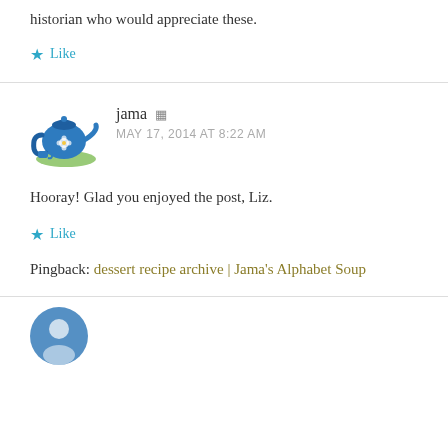historian who would appreciate these.
★ Like
jama
MAY 17, 2014 AT 8:22 AM
Hooray! Glad you enjoyed the post, Liz.
★ Like
Pingback: dessert recipe archive | Jama's Alphabet Soup